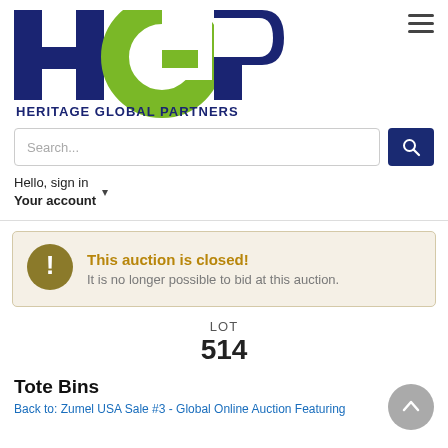[Figure (logo): Heritage Global Partners (HGP) logo with navy H, green G, navy P letters and text HERITAGE GLOBAL PARTNERS below]
Hello, sign in
Your account
This auction is closed!
It is no longer possible to bid at this auction.
LOT
514
Tote Bins
Back to: Zumel USA Sale #3 - Global Online Auction Featuring